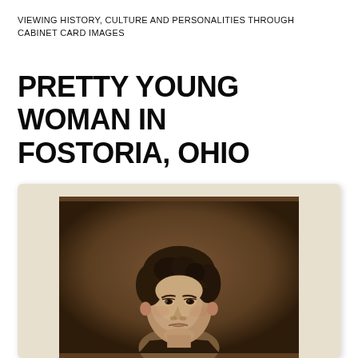VIEWING HISTORY, CULTURE AND PERSONALITIES THROUGH CABINET CARD IMAGES
PRETTY YOUNG WOMAN IN FOSTORIA, OHIO
[Figure (photo): Sepia-toned cabinet card portrait photograph of a young woman with curly upswept hair, looking slightly to one side, wearing a dark dress, mounted on cream/tan card stock with rounded corners.]